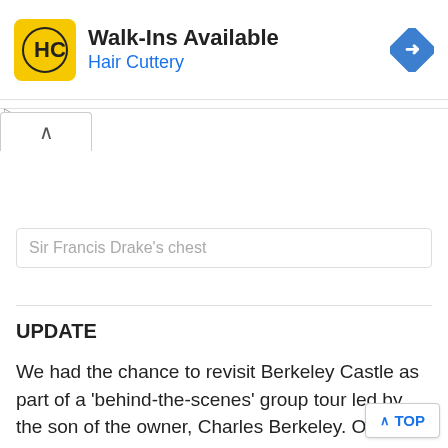[Figure (infographic): Hair Cuttery advertisement banner with yellow logo, 'Walk-Ins Available' headline, 'Hair Cuttery' subtitle in blue, and a blue diamond-shaped directions arrow icon on the right.]
Sir Francis Drake's chest
UPDATE
We had the chance to revisit Berkeley Castle as part of a 'behind-the-scenes' group tour led by the son of the owner, Charles Berkeley. Our guide was an absolutely charming host and clearly took a great deal of pride in his